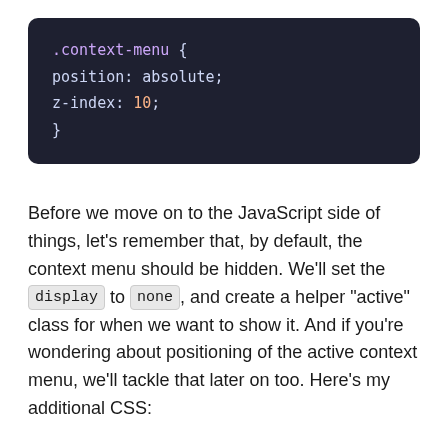[Figure (screenshot): Dark-themed code block showing CSS: .context-menu { position: absolute; z-index: 10; }]
Before we move on to the JavaScript side of things, let's remember that, by default, the context menu should be hidden. We'll set the display to none, and create a helper "active" class for when we want to show it. And if you're wondering about positioning of the active context menu, we'll tackle that later on too. Here's my additional CSS: